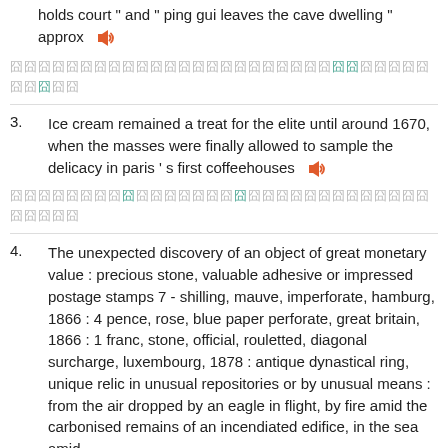holds court " and " ping gui leaves the cave dwelling " approx
[Chinese characters row 1]
3. Ice cream remained a treat for the elite until around 1670, when the masses were finally allowed to sample the delicacy in paris ' s first coffeehouses
[Chinese characters row 2]
4. The unexpected discovery of an object of great monetary value : precious stone, valuable adhesive or impressed postage stamps 7 - shilling, mauve, imperforate, hamburg, 1866 : 4 pence, rose, blue paper perforate, great britain, 1866 : 1 franc, stone, official, rouletted, diagonal surcharge, luxembourg, 1878 : antique dynastical ring, unique relic in unusual repositories or by unusual means : from the air dropped by an eagle in flight, by fire amid the carbonised remains of an incendiated edifice, in the sea amid